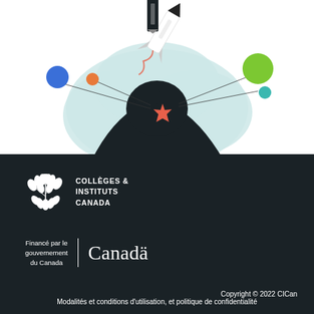[Figure (illustration): Abstract illustration showing a rocket launching upward through a light blue cloud shape, with colorful dots (blue, orange, green, teal) connected by thin lines to the rocket, and a dark silhouetted mountain/figure at the base with a red maple leaf star burst.]
[Figure (logo): Collèges & Instituts Canada (CICan) logo — white stylized wheat/leaf emblem with text 'COLLÈGES & INSTITUTS CANADA' in white capitals.]
[Figure (logo): Government of Canada logo — 'Financé par le gouvernement du Canada' text with vertical white bar divider and 'Canadä' wordmark in white.]
Copyright © 2022 CICan
Modalités et conditions d'utilisation, et politique de confidentialité